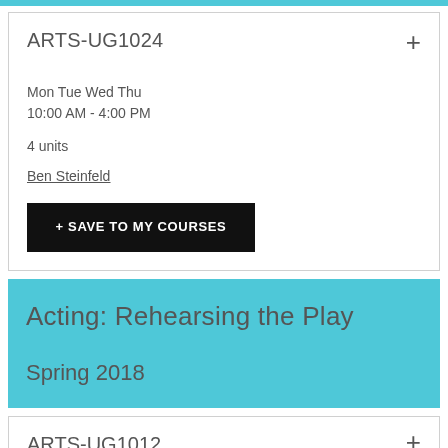ARTS-UG1024
Mon Tue Wed Thu
10:00 AM - 4:00 PM
4 units
Ben Steinfeld
+ SAVE TO MY COURSES
Acting: Rehearsing the Play
Spring 2018
ARTS-UG1012